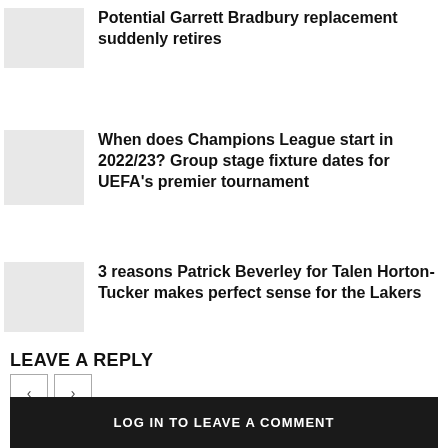Potential Garrett Bradbury replacement suddenly retires
When does Champions League start in 2022/23? Group stage fixture dates for UEFA's premier tournament
3 reasons Patrick Beverley for Talen Horton-Tucker makes perfect sense for the Lakers
LEAVE A REPLY
LOG IN TO LEAVE A COMMENT